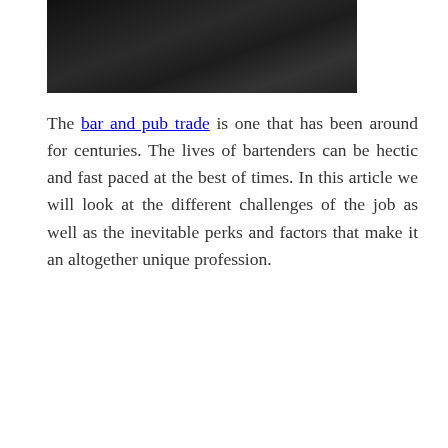[Figure (photo): Dark interior photo of a bar or pub, mostly dark tones with dim lighting visible in the background]
The bar and pub trade is one that has been around for centuries. The lives of bartenders can be hectic and fast paced at the best of times. In this article we will look at the different challenges of the job as well as the inevitable perks and factors that make it an altogether unique profession.